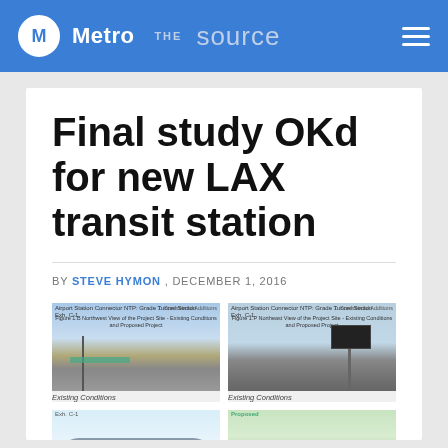Metro THE source
Final study OKd for new LAX transit station
BY STEVE HYMON , DECEMBER 1, 2016
[Figure (photo): Four-panel image grid showing existing conditions and proposed project views of the LAX transit station site. Top-left: Northwest view of project site showing existing conditions with a street scene and green structure. Top-right: Northeast view showing existing conditions with a billboard. Bottom-left and bottom-right: Architectural renderings of proposed project.]
Existing Conditions / Existing Conditions